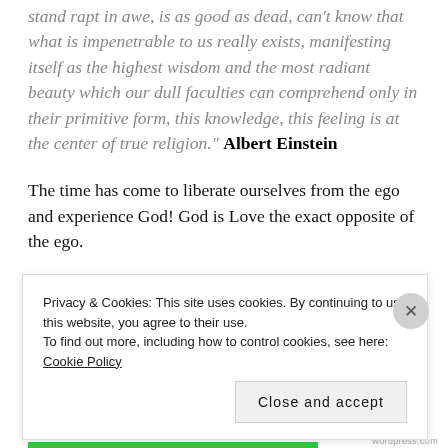stand rapt in awe, is as good as dead, can't know that what is impenetrable to us really exists, manifesting itself as the highest wisdom and the most radiant beauty which our dull faculties can comprehend only in their primitive form, this knowledge, this feeling is at the center of true religion." Albert Einstein
The time has come to liberate ourselves from the ego and experience God! God is Love the exact opposite of the ego.
How many of us blame things on God? For example we say that something that happened must have been God's Will
Privacy & Cookies: This site uses cookies. By continuing to use this website, you agree to their use. To find out more, including how to control cookies, see here: Cookie Policy